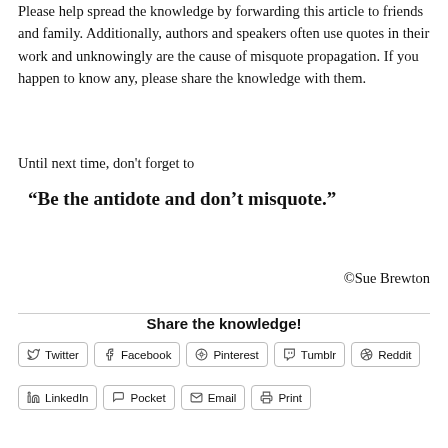Please help spread the knowledge by forwarding this article to friends and family.  Additionally, authors and speakers often use quotes in their work and unknowingly are the cause of misquote propagation.  If you happen to know any, please share the knowledge with them.
Until next time, don't forget to
“Be the antidote and don’t misquote.”
©Sue Brewton
Share the knowledge!
Twitter | Facebook | Pinterest | Tumblr | Reddit | LinkedIn | Pocket | Email | Print